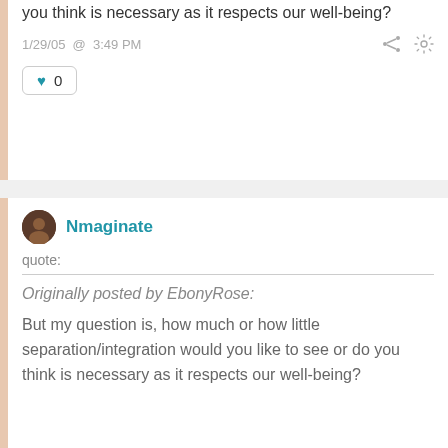you think is necessary as it respects our well-being?
1/29/05 @ 3:49 PM
0
Nmaginate
quote:
Originally posted by EbonyRose:
But my question is, how much or how little separation/integration would you like to see or do you think is necessary as it respects our well-being?